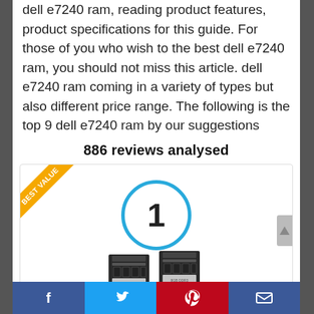dell e7240 ram, reading product features, product specifications for this guide. For those of you who wish to the best dell e7240 ram, you should not miss this article. dell e7240 ram coming in a variety of types but also different price range. The following is the top 9 dell e7240 ram by our suggestions
886 reviews analysed
[Figure (infographic): Product card with 'BEST VALUE' ribbon badge in top-left corner, a large circle with number 1 inside, and a RAM module product image at the bottom]
Social sharing bar with Facebook, Twitter, Pinterest, and Email icons